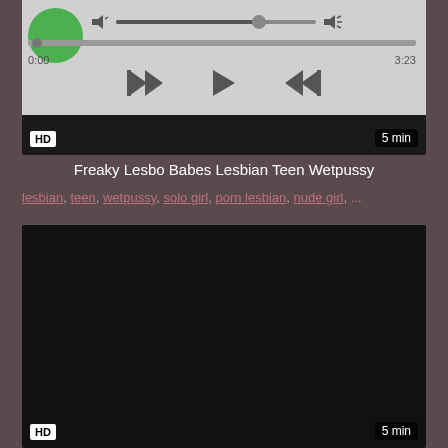[Figure (screenshot): Video player showing media controls with progress bar, time 0:00 and 3:23, playback buttons (rewind, play, fast-forward), HD badge and 5 min duration badge]
Freaky Lesbo Babes Lesbian Teen Wetpussy
lesbian, teen, wetpussy, solo girl, porn lesbian, nude girl, ...
[Figure (screenshot): Dark/black video thumbnail with HD badge and 5 min duration badge]